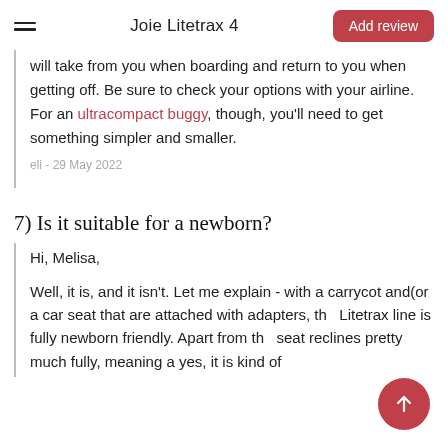Joie Litetrax 4
will take from you when boarding and return to you when getting off. Be sure to check your options with your airline. For an ultracompact buggy, though, you'll need to get something simpler and smaller.
eli - 29 May 2022
7) Is it suitable for a newborn?
Hi, Melisa,
Well, it is, and it isn't. Let me explain - with a carrycot and(or a car seat that are attached with adapters, the Litetrax line is fully newborn friendly. Apart from that, the seat reclines pretty much fully, meaning a yes, it is kind of